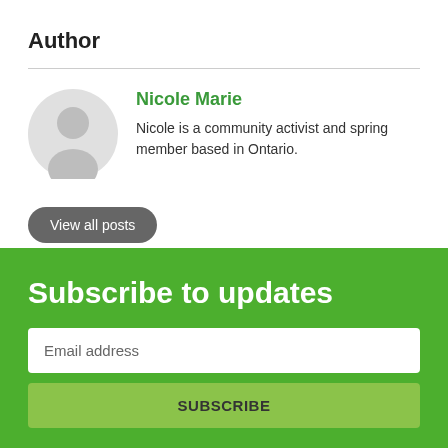Author
[Figure (illustration): Gray circular avatar/silhouette of a person]
Nicole Marie
Nicole is a community activist and spring member based in Ontario.
View all posts
Subscribe to updates
Email address
SUBSCRIBE